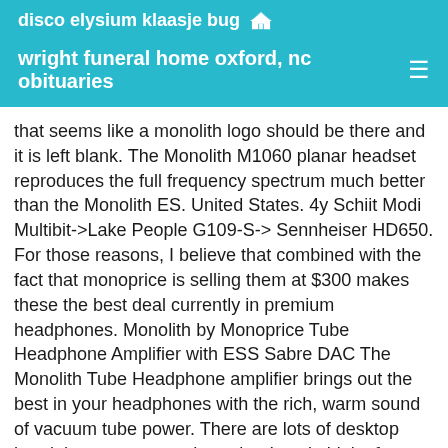disco elysium klaasje bug 🏠
wright funeral home oxford, nc obituaries ≡
that seems like a monolith logo should be there and it is left blank. The Monolith M1060 planar headset reproduces the full frequency spectrum much better than the Monolith ES. United States. 4y Schiit Modi Multibit->Lake People G109-S-> Sennheiser HD650. For those reasons, I believe that combined with the fact that monoprice is selling them at $300 makes these the best deal currently in premium headphones. Monolith by Monoprice Tube Headphone Amplifier with ESS Sabre DAC The Monolith Tube Headphone amplifier brings out the best in your headphones with the rich, warm sound of vacuum tube power. There are lots of desktop headphone amps out there, but I can't think of any that deliver anything close to this . Again, coherency these days is what the game is all about and not an expansive sound. SCORE. item 3